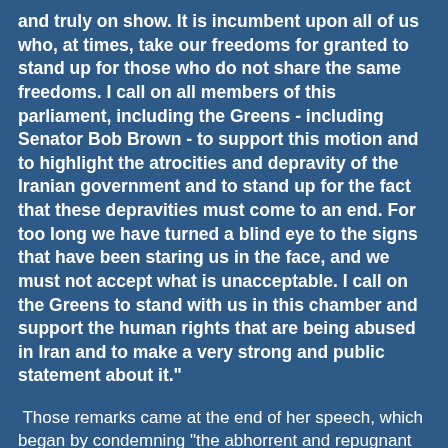and truly on show. It is incumbent upon all of us who, at times, take our freedoms for granted to stand up for those who do not share the same freedoms. I call on all members of this parliament, including the Greens - including Senator Bob Brown - to support this motion and to highlight the atrocities and depravity of the Iranian government and to stand up for the fact that these depravities must come to an end. For too long we have turned a blind eye to the signs that have been staring us in the face, and we must not accept what is unacceptable. I call on the Greens to stand with us in this chamber and support the human rights that are being abused in Iran and to make a very strong and public statement about it."
Those remarks came at the end of her speech, which began by condemning "the abhorrent and repugnant human rights abuses that are currently occurring in the so-called Republic of Iran" and after she bemoaned the dashed expectations of